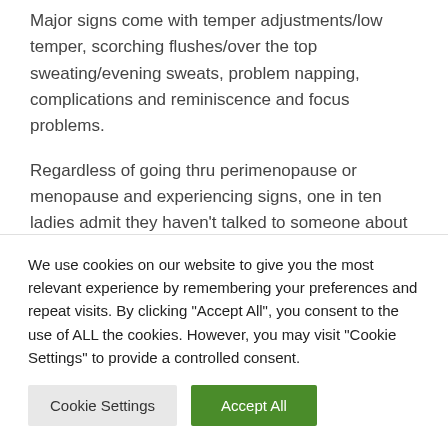Major signs come with temper adjustments/low temper, scorching flushes/over the top sweating/evening sweats, problem napping, complications and reminiscence and focus problems.
Regardless of going thru perimenopause or menopause and experiencing signs, one in ten ladies admit they haven't talked to someone about it.
For individuals who do want to flip to any person, pals are
We use cookies on our website to give you the most relevant experience by remembering your preferences and repeat visits. By clicking "Accept All", you consent to the use of ALL the cookies. However, you may visit "Cookie Settings" to provide a controlled consent.